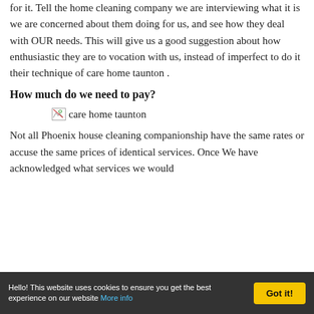for it. Tell the home cleaning company we are interviewing what it is we are concerned about them doing for us, and see how they deal with OUR needs. This will give us a good suggestion about how enthusiastic they are to vocation with us, instead of imperfect to do it their technique of care home taunton .
How much do we need to pay?
[Figure (photo): Broken image placeholder with alt text 'care home taunton']
Not all Phoenix house cleaning companionship have the same rates or accuse the same prices of identical services. Once We have acknowledged what services we would
Hello! This website uses cookies to ensure you get the best experience on our website More info  Got it!